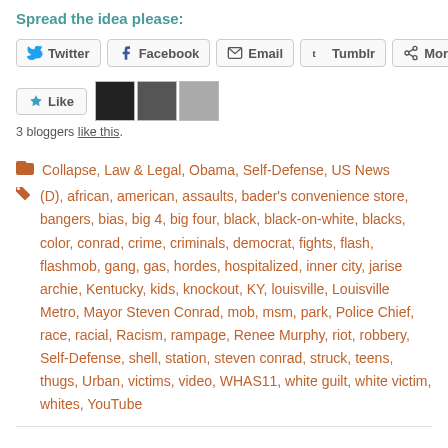Spread the idea please:
Twitter | Facebook | Email | Tumblr | More
3 bloggers like this.
Categories: Collapse, Law & Legal, Obama, Self-Defense, US News
Tags: (D), african, american, assaults, bader's convenience store, bangers, bias, big 4, big four, black, black-on-white, blacks, color, conrad, crime, criminals, democrat, fights, flash, flashmob, gang, gas, hordes, hospitalized, inner city, jarise archie, Kentucky, kids, knockout, KY, louisville, Louisville Metro, Mayor Steven Conrad, mob, msm, park, Police Chief, race, racial, Racism, rampage, Renee Murphy, riot, robbery, Self-Defense, shell, station, steven conrad, struck, teens, thugs, Urban, victims, video, WHAS11, white guilt, white victim, whites, YouTube